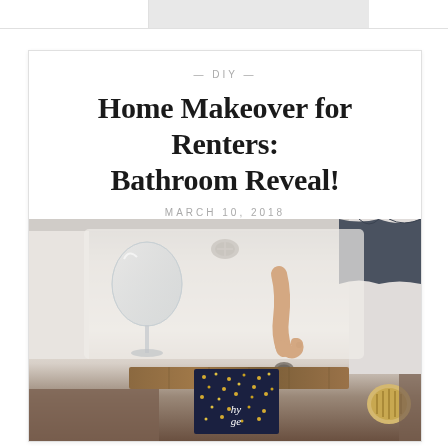— DIY —
Home Makeover for Renters: Bathroom Reveal!
MARCH 10, 2018
[Figure (photo): Overhead view of a bathtub with a large wine glass, a person's foot resting in the tub, a book titled 'hygge' on a wooden bath tray, and a bath brush. The scene is styled as a cozy bath setup.]